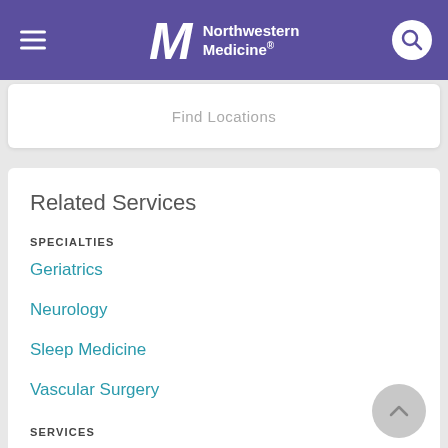Northwestern Medicine
Find Locations
Related Services
SPECIALTIES
Geriatrics
Neurology
Sleep Medicine
Vascular Surgery
SERVICES
Elder Care
Geriatrics